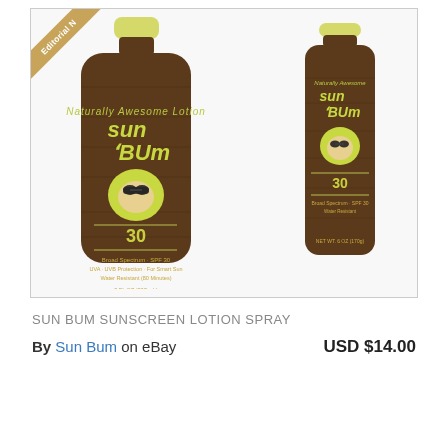[Figure (photo): Two Sun Bum sunscreen products: a lotion bottle (SPF 30, 8 FL OZ / 237mL) on the left with a yellow cap and wood-grain brown bottle, and a spray can (SPF 30) on the right, both showing the Sun Bum mascot logo. An 'Editorial' badge ribbon appears in the top-left corner of the image frame.]
SUN BUM SUNSCREEN LOTION SPRAY
By Sun Bum  on eBay		USD $14.00